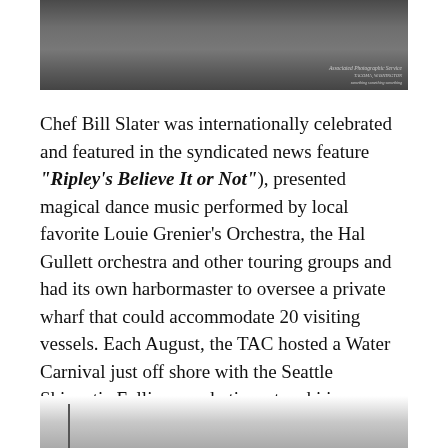[Figure (photo): Grayscale photograph, partially visible at top of page, appears to show a dark interior or architectural scene]
Chef Bill Slater was internationally celebrated and featured in the syndicated news feature “Ripley’s Believe It or Not”), presented magical dance music performed by local favorite Louie Grenier’s Orchestra, the Hal Gullett orchestra and other touring groups and had its own harbormaster to oversee a private wharf that could accommodate 20 visiting vessels. Each August, the TAC hosted a Water Carnival just off shore with the Seattle Skiquatic Follies, acrobatic water ski jumpers and synchronized swimmers. Tacoma families flocked to the Old Town dock for the show but the best seats were at the Top of the Ocean.
[Figure (photo): Partial photograph visible at bottom of page, cropped]